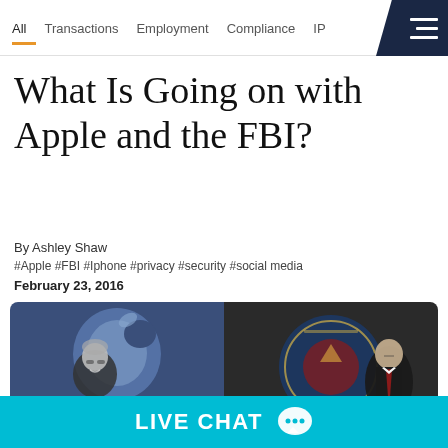All  Transactions  Employment  Compliance  IP
What Is Going on with Apple and the FBI?
By Ashley Shaw
#Apple #FBI #Iphone #privacy #security #social media
February 23, 2016
[Figure (photo): Split image: left side shows Tim Cook smiling in front of an Apple logo; right side shows an FBI official standing in front of a Department of Justice seal.]
LIVE CHAT